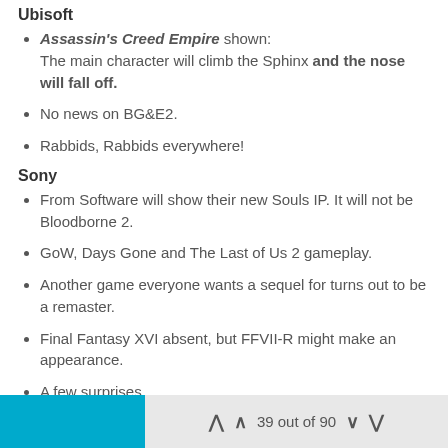Ubisoft
Assassin's Creed Empire shown: The main character will climb the Sphinx and the nose will fall off.
No news on BG&E2.
Rabbids, Rabbids everywhere!
Sony
From Software will show their new Souls IP. It will not be Bloodborne 2.
GoW, Days Gone and The Last of Us 2 gameplay.
Another game everyone wants a sequel for turns out to be a remaster.
Final Fantasy XVI absent, but FFVII-R might make an appearance.
A few surprises.
39 out of 90